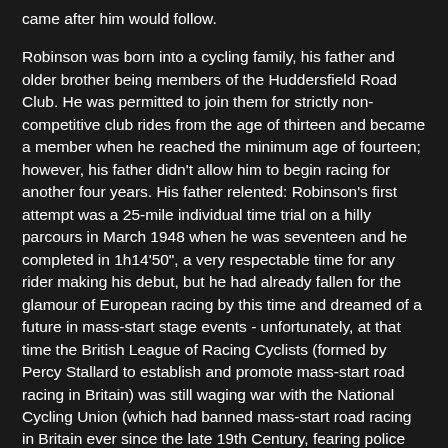came after him would follow.
Robinson was born into a cycling family, his father and older brother being members of the Huddersfield Road Club. He was permitted to join them for strictly non-competitive club rides from the age of thirteen and became a member when he reached the minimum age of fourteen; however, his father didn't allow him to begin racing for another four years. His father relented: Robinson's first attempt was a 25-mile individual time trial on a hilly parcours in March 1948 when he was seventeen and he completed in 1h14'50", a very respectable time for any rider making his debut, but he had already fallen for the glamour of European racing by this time and dreamed of a future in mass-start stage events - unfortunately, at that time the British League of Racing Cyclists (formed by Percy Stallard to establish and promote mass-start road racing in Britain) was still waging war with the National Cycling Union (which had banned mass-start road racing in Britain ever since the late 19th Century, fearing police would ban all bicycles from public roads). Robinson was an NCU member and was thus limited to the few NCU mass-start events that took place, all of them in